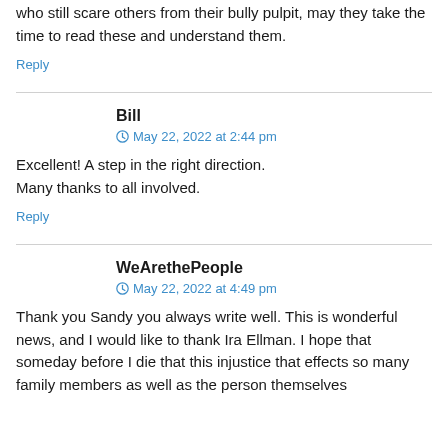who still scare others from their bully pulpit, may they take the time to read these and understand them.
Reply
Bill
May 22, 2022 at 2:44 pm
Excellent! A step in the right direction.
Many thanks to all involved.
Reply
WeArethePeople
May 22, 2022 at 4:49 pm
Thank you Sandy you always write well. This is wonderful news, and I would like to thank Ira Ellman. I hope that someday before I die that this injustice that effects so many family members as well as the person themselves